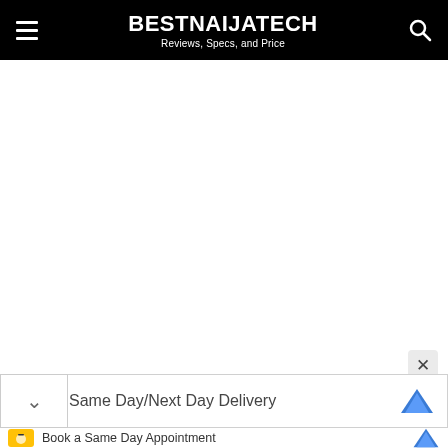BESTNAIJATECH — Reviews, Specs, and Price
[Figure (screenshot): Large white blank advertisement or content area]
×
Same Day/Next Day Delivery
Book a Same Day Appointment